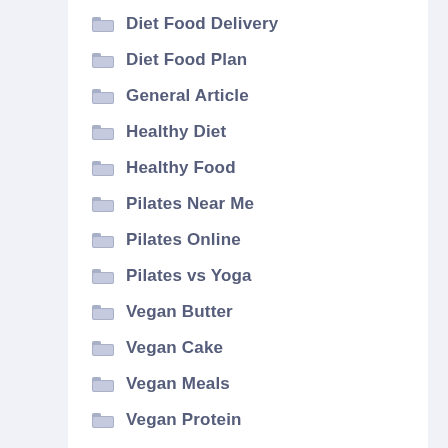Diet Food Delivery
Diet Food Plan
General Article
Healthy Diet
Healthy Food
Pilates Near Me
Pilates Online
Pilates vs Yoga
Vegan Butter
Vegan Cake
Vegan Meals
Vegan Protein